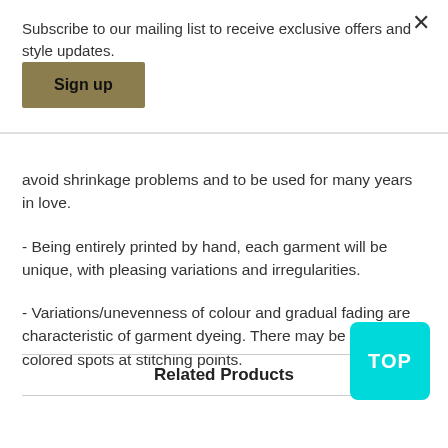Subscribe to our mailing list to receive exclusive offers and style updates.
Sign up
avoid shrinkage problems and to be used for many years in love.
- Being entirely printed by hand, each garment will be unique, with pleasing variations and irregularities.
- Variations/unevenness of colour and gradual fading are characteristic of garment dyeing. There may be some light colored spots at stitching points.
Related Products